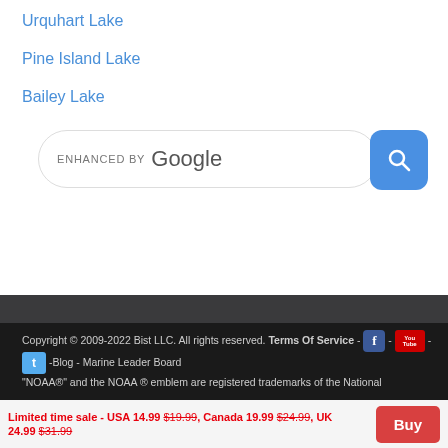Urquhart Lake
Pine Island Lake
Bailey Lake
[Figure (screenshot): Enhanced by Google search bar with blue search button]
Copyright © 2009-2022 Bist LLC. All rights reserved. Terms Of Service - [Facebook icon] - [YouTube icon] - [Twitter icon] -Blog - Marine Leader Board
"NOAA®" and the NOAA ® emblem are registered trademarks of the National
Limited time sale - USA 14.99 $19.99, Canada 19.99 $24.99, UK 24.99 $31.99